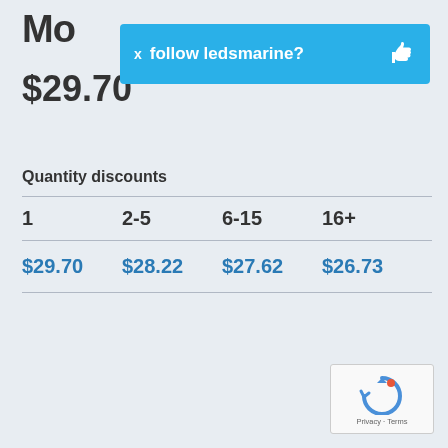Mo... (partial)
$29.70
[Figure (screenshot): Blue notification bar with X close button and text 'follow ledsmarine?' with thumbs up icon]
Quantity discounts
| 1 | 2-5 | 6-15 | 16+ |
| --- | --- | --- | --- |
| $29.70 | $28.22 | $27.62 | $26.73 |
[Figure (other): reCAPTCHA widget with Privacy and Terms text]